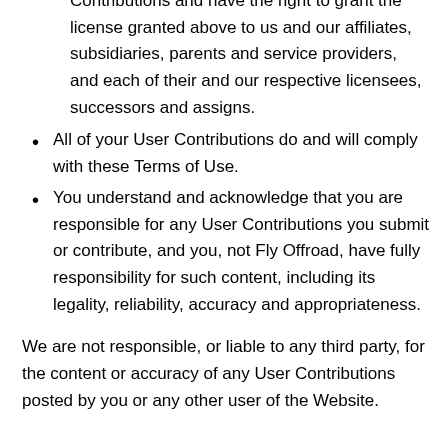Contributions and have the right to grant the license granted above to us and our affiliates, subsidiaries, parents and service providers, and each of their and our respective licensees, successors and assigns.
All of your User Contributions do and will comply with these Terms of Use.
You understand and acknowledge that you are responsible for any User Contributions you submit or contribute, and you, not Fly Offroad, have fully responsibility for such content, including its legality, reliability, accuracy and appropriateness.
We are not responsible, or liable to any third party, for the content or accuracy of any User Contributions posted by you or any other user of the Website.